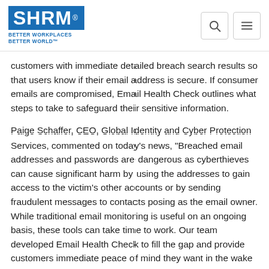SHRM - BETTER WORKPLACES BETTER WORLD
customers with immediate detailed breach search results so that users know if their email address is secure. If consumer emails are compromised, Email Health Check outlines what steps to take to safeguard their sensitive information.
Paige Schaffer, CEO, Global Identity and Cyber Protection Services, commented on today’s news, “Breached email addresses and passwords are dangerous as cyberthieves can cause significant harm by using the addresses to gain access to the victim’s other accounts or by sending fraudulent messages to contacts posing as the email owner. While traditional email monitoring is useful on an ongoing basis, these tools can take time to work. Our team developed Email Health Check to fill the gap and provide customers immediate peace of mind they want in the wake of a breach.”
Email Health Check complements the existing identity theft monitoring offering for GEICO Portfolio Identity Theft Protection customers that is provided by Generali Global Assistance by giving a user immediate feedback about email